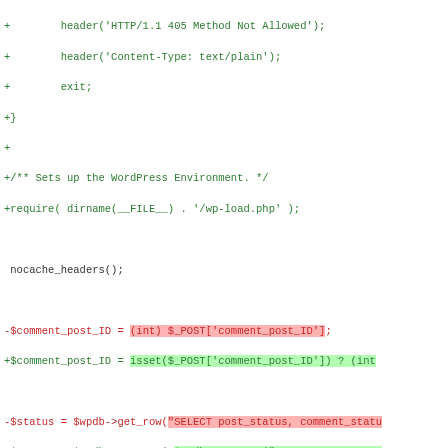[Figure (screenshot): Code diff screenshot showing PHP WordPress file changes with red/green highlighted lines indicating removed and added code lines]
Code diff showing WordPress comment-ajax.php changes including: header HTTP 405, Content-Type, exit, WordPress environment setup, nocache_headers, $comment_post_ID, $status assignments, and various elseif blocks for comment status handling